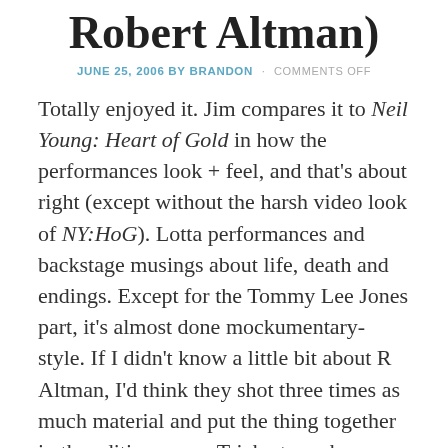Robert Altman)
JUNE 25, 2006 BY BRANDON · COMMENTS OFF
Totally enjoyed it. Jim compares it to Neil Young: Heart of Gold in how the performances look + feel, and that's about right (except without the harsh video look of NY:HoG). Lotta performances and backstage musings about life, death and endings. Except for the Tommy Lee Jones part, it's almost done mockumentary-style. If I didn't know a little bit about R Altman, I'd think they shot three times as much material and put the thing together in the editing room. Tricky to make a fully-scripted